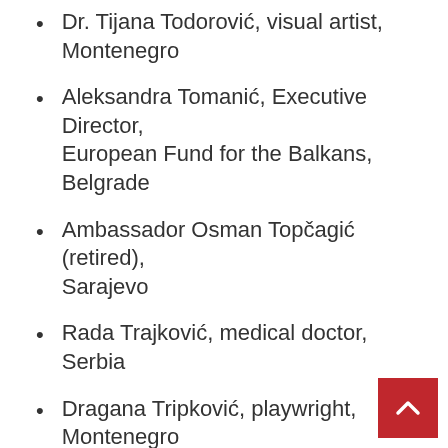Dr. Tijana Todorović, visual artist, Montenegro
Aleksandra Tomanić, Executive Director, European Fund for the Balkans, Belgrade
Ambassador Osman Topčagić (retired), Sarajevo
Rada Trajković, medical doctor, Serbia
Dragana Tripković, playwright, Montenegro
Dr. Nevenka Tromp, University of Amsterdam, Holland
Dr. Sead Turčalo, Dean of the School of Political Sciences, University of Sarajevo